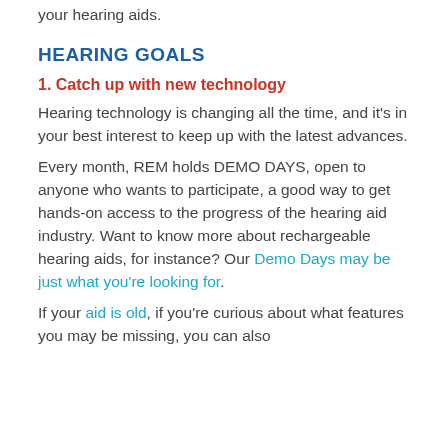2022: The year to finally make the most out of your hearing aids.
HEARING GOALS
1. Catch up with new technology
Hearing technology is changing all the time, and it’s in your best interest to keep up with the latest advances.
Every month, REM holds DEMO DAYS, open to anyone who wants to participate, a good way to get hands-on access to the progress of the hearing aid industry. Want to know more about rechargeable hearing aids, for instance? Our Demo Days may be just what you’re looking for.
If your aid is old, if you’re curious about what features you may be missing, you can also